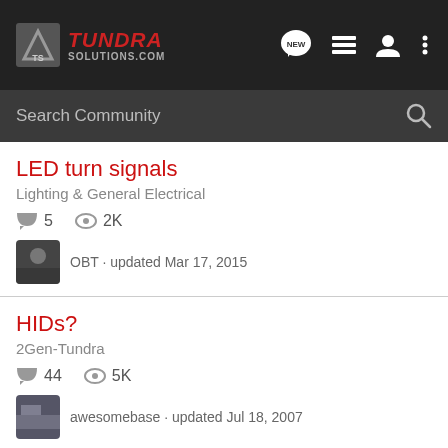TundRa Solutions.com
Search Community
LED turn signals
Lighting & General Electrical
5 replies · 2K views
OBT · updated Mar 17, 2015
HIDs?
2Gen-Tundra
44 replies · 5K views
awesomebase · updated Jul 18, 2007
2014 Daytime Running Lights
2Gen-Tundra